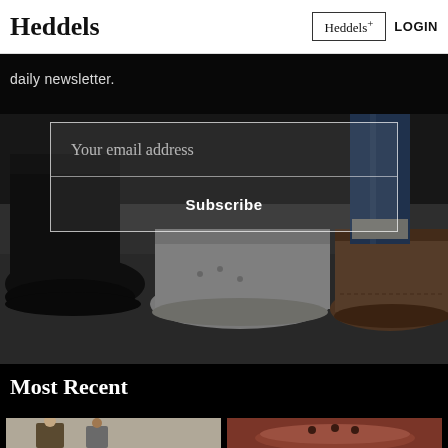Heddels | Heddels+ | LOGIN
[Figure (photo): Dark background photo of multiple pairs of shoes/sneakers on pavement including black boots, white sneakers, and brown leather shoes]
daily newsletter.
Your email address
Subscribe
Most Recent
[Figure (photo): Two men standing, one in army green jacket]
[Figure (photo): Close-up of brown/burgundy leather shoe with tassel detail]